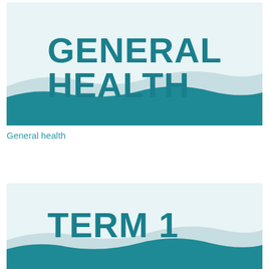[Figure (illustration): Light blue/teal banner slide with bold teal text reading GENERAL HEALTH, with decorative wave shapes at the bottom in teal and grey-blue tones]
General health
[Figure (illustration): Light blue/teal banner slide with bold teal text reading TERM 1, with decorative wave shapes at the bottom in teal and grey-blue tones]